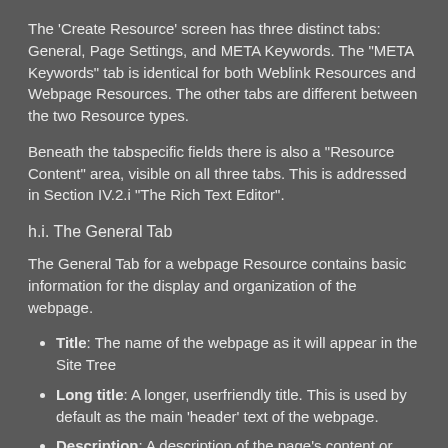The ‘Create Resource’ screen has three distinct tabs: General, Page Settings, and META Keywords. The “META Keywords” tab is identical for both Weblink Resources and Webpage Resources. The other tabs are different between the two Resource types.
Beneath the tabspecific fields there is also a “Resource Content” area, visible on all three tabs. This is addressed in Section IV.2.i “The Rich Text Editor”.
h.i. The General Tab
The General Tab for a webpage Resource contains basic information for the display and organization of the webpage.
Title: The name of the webpage as it will appear in the Site Tree
Long title: A longer, userfriendly title. This is used by default as the main ‘header’ text of the webpage.
Description: A description of the page’s content or purpose. Not visible to site visitors.